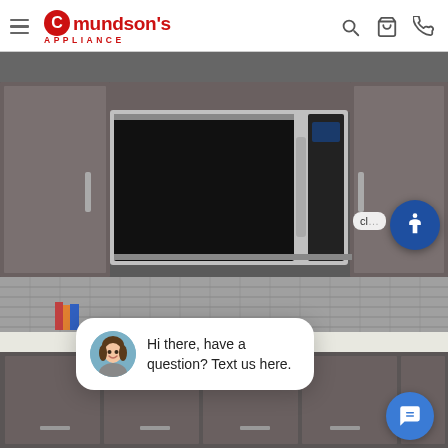Amundson's APPLIANCE
[Figure (photo): Kitchen scene showing a stainless steel over-the-range microwave mounted above a cooktop, flanked by dark gray cabinetry with a tile backsplash. A chat popup overlay reads 'Hi there, have a question? Text us here.' with a woman's avatar photo. An accessibility icon button and a blue chat button are also visible.]